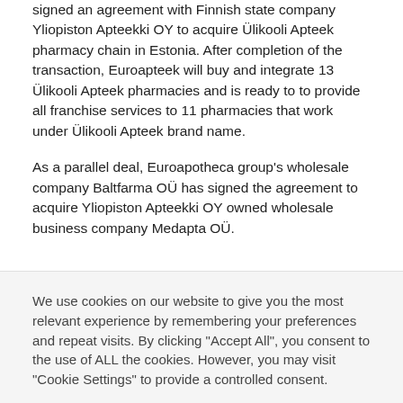signed an agreement with Finnish state company Yliopiston Apteekki OY to acquire Ülikooli Apteek pharmacy chain in Estonia.  After completion of the transaction, Euroapteek will buy and integrate 13 Ülikooli Apteek pharmacies and is ready to to provide all franchise services to 11 pharmacies that work under Ülikooli Apteek brand name.
As a parallel deal, Euroapotheca group's wholesale company Baltfarma OÜ has signed the agreement to acquire Yliopiston Apteekki OY owned wholesale business company Medapta OÜ.
We use cookies on our website to give you the most relevant experience by remembering your preferences and repeat visits. By clicking "Accept All", you consent to the use of ALL the cookies. However, you may visit "Cookie Settings" to provide a controlled consent.